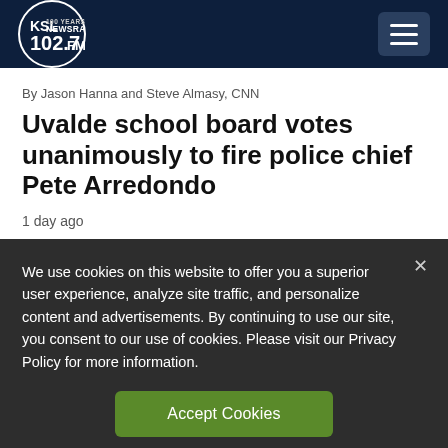KSL NewsRadio 102.7FM
By Jason Hanna and Steve Almasy, CNN
Uvalde school board votes unanimously to fire police chief Pete Arredondo
1 day ago
We use cookies on this website to offer you a superior user experience, analyze site traffic, and personalize content and advertisements. By continuing to use our site, you consent to our use of cookies. Please visit our Privacy Policy for more information.
Accept Cookies